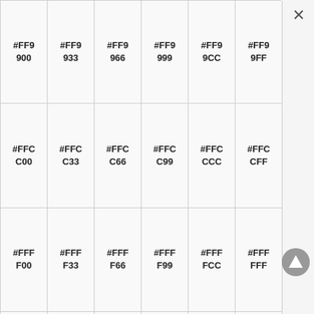| #FF9
900 | #FF9
933 | #FF9
966 | #FF9
999 | #FF9
9CC | #FF9
9FF |
| #FFC
C00 | #FFC
C33 | #FFC
C66 | #FFC
C99 | #FFC
CCC | #FFC
CFF |
| #FFF
F00 | #FFF
F33 | #FFF
F66 | #FFF
F99 | #FFF
FCC | #FFF
FFF |
|  |  |  |  |  |  |